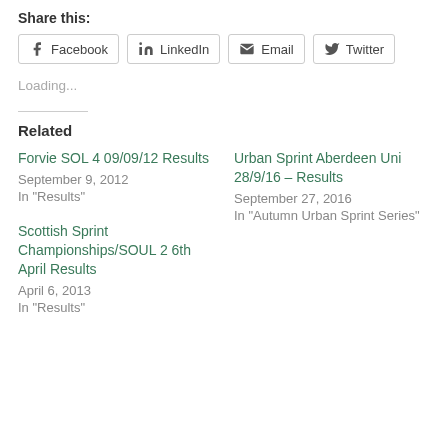Share this:
Facebook | LinkedIn | Email | Twitter
Loading...
Related
Forvie SOL 4 09/09/12 Results
September 9, 2012
In "Results"
Urban Sprint Aberdeen Uni 28/9/16 – Results
September 27, 2016
In "Autumn Urban Sprint Series"
Scottish Sprint Championships/SOUL 2 6th April Results
April 6, 2013
In "Results"